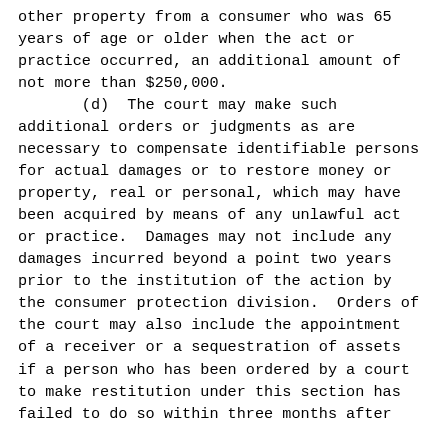other property from a consumer who was 65 years of age or older when the act or practice occurred, an additional amount of not more than $250,000.
    (d)  The court may make such additional orders or judgments as are necessary to compensate identifiable persons for actual damages or to restore money or property, real or personal, which may have been acquired by means of any unlawful act or practice.  Damages may not include any damages incurred beyond a point two years prior to the institution of the action by the consumer protection division.  Orders of the court may also include the appointment of a receiver or a sequestration of assets if a person who has been ordered by a court to make restitution under this section has failed to do so within three months after